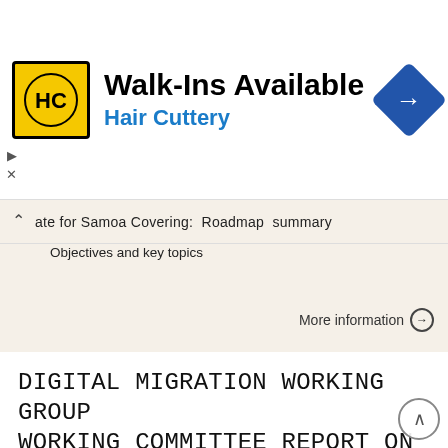[Figure (logo): Hair Cuttery advertisement banner with HC logo and navigation arrow icon. Walk-Ins Available text with Hair Cuttery subtitle.]
ate for Samoa Covering: Roadmap summary Objectives and key topics
More information →
DIGITAL MIGRATION WORKING GROUP WORKING COMMITTEE REPORT ON ECONOMIC SCENARIOS AND CONSUMER
DIGITAL MIGRATION WORKING GROUP WORKING COMMITTEE REPORT ON ECONOMIC SCENARIOS AND CONSUMER ISSUES FOR DIGITAL MIGRATION IN SOUTH AFRICA 15 th November 2006 2 1. INTRODUCTION --------------------------------------------------- -------------------------------------------3